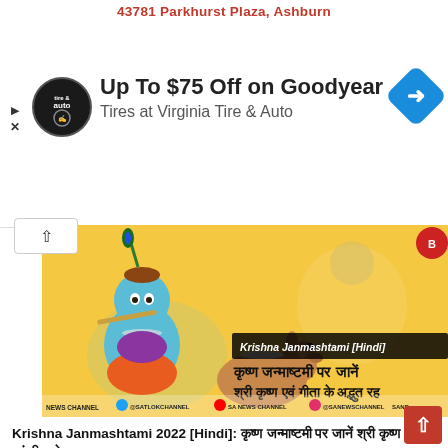43781 Parkhurst Plaza, Ashburn
[Figure (screenshot): Advertisement for Virginia Tire & Auto: circular logo, text 'Up To $75 Off on Goodyear Tires at Virginia Tire & Auto', blue navigation icon]
[Figure (photo): Krishna Janmashtami Hindi video thumbnail showing cartoon baby Krishna playing flute with a calf, yellow background, Hindi text and social media channel bar at bottom]
Krishna Janmashtami 2022 [Hindi]: कृष्ण जन्माष्टमी पर जानें श्री कृष्ण एवं गीता के अद्भुत रहस्य